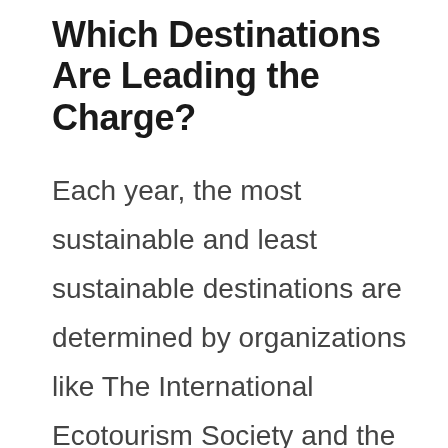Which Destinations Are Leading the Charge?
Each year, the most sustainable and least sustainable destinations are determined by organizations like The International Ecotourism Society and the Impact Travel Alliance. More and more places are vying for their own sustainable designation. Even the United Nations is taking part!